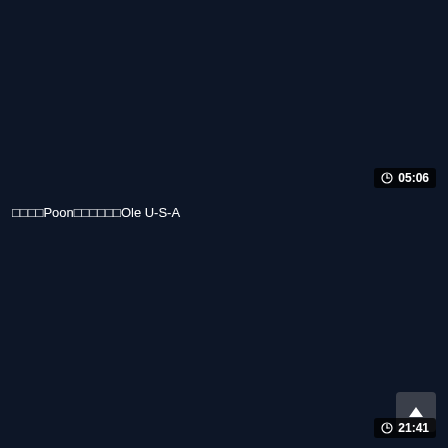[Figure (screenshot): Dark navy video thumbnail card with a duration badge showing a clock icon and 05:06 in the bottom right area]
□□□□Poon□□□□□□Ole U-S-A
[Figure (screenshot): Dark navy video thumbnail card with a scroll-to-top button and a duration badge showing 21:41]